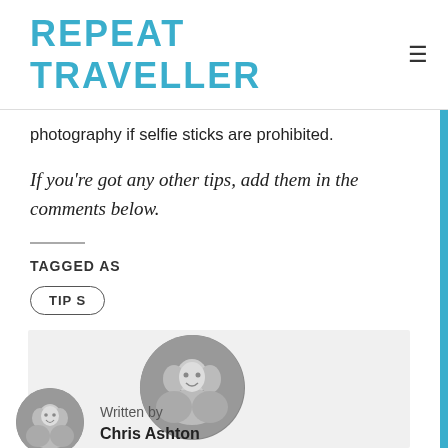REPEAT TRAVELLER
photography if selfie sticks are prohibited.
If you're got any other tips, add them in the comments below.
TAGGED AS
TIPS
[Figure (photo): Circular black-and-white author photo showing a group of smiling people]
Written by
Chris Ashton